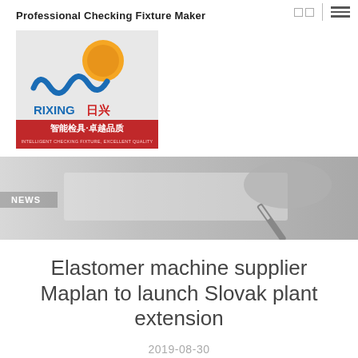Professional Checking Fixture Maker
[Figure (logo): Rixing (日兴) company logo with orange sun and blue wave design, red banner with Chinese text '智能检具·卓越品质' and English 'INTELLIGENT CHECKING FIXTURE, EXCELLENT QUALITY']
[Figure (photo): Grayscale banner photo of a hand holding a pen writing on paper, with 'NEWS' label overlay on the left side]
Elastomer machine supplier Maplan to launch Slovak plant extension
2019-08-30